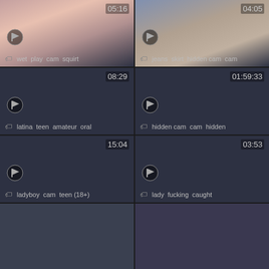[Figure (screenshot): Video thumbnail grid - top left: person, duration 05:16, tags: wet play cam squirt]
[Figure (screenshot): Video thumbnail grid - top right: person in jeans, duration 04:05, tags: jeans skirt hidden cam cam]
[Figure (screenshot): Video thumbnail - middle left: dark, duration 08:29, tags: latina teen amateur oral]
[Figure (screenshot): Video thumbnail - middle right: dark, duration 01:59:33, tags: hidden cam cam hidden]
[Figure (screenshot): Video thumbnail - lower left: dark, duration 15:04, tags: ladyboy cam teen (18+)]
[Figure (screenshot): Video thumbnail - lower right: dark, duration 03:53, tags: lady fucking caught]
[Figure (screenshot): Video thumbnail - bottom left: partial]
[Figure (screenshot): Video thumbnail - bottom right: partial]